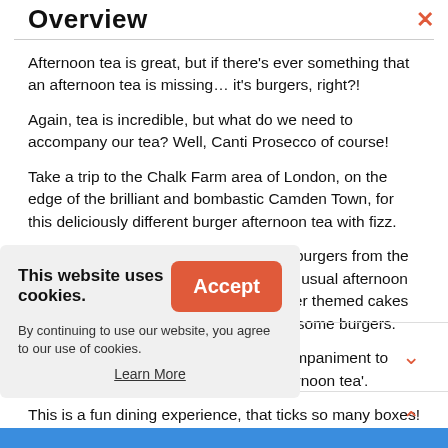Overview
Afternoon tea is great, but if there's ever something that an afternoon tea is missing… it's burgers, right?!
Again, tea is incredible, but what do we need to accompany our tea? Well, Canti Prosecco of course!
Take a trip to the Chalk Farm area of London, on the edge of the brilliant and bombastic Camden Town, for this deliciously different burger afternoon tea with fizz.
You'll get to pick and choose your mini burgers from the Burger Bites menu, and instead of your usual afternoon tea scones, you'll enjoy incredible burger themed cakes – the perfect sweet treat after your awesome burgers.
The Canti Prosecco is the perfect accompaniment to such an out there and outstanding 'afternoon tea'.
This is a fun dining experience, that ticks so many boxes! Get on down to London and tuck in!
This website uses cookies. By continuing to use our website, you agree to our use of cookies.